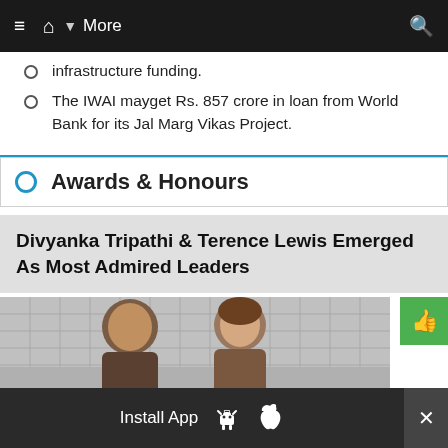≡  🏠  ▼ More  🔍
infrastructure funding.
The IWAI mayget Rs. 857 crore in loan from World Bank for its Jal Marg Vikas Project.
Awards & Honours
Divyanka Tripathi & Terence Lewis Emerged As Most Admired Leaders
[Figure (photo): Two people posing together, a man and a woman, in front of a tiled wall background.]
Install App  [Android]  [Apple]  ✕